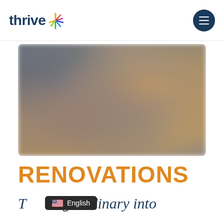thrive
[Figure (photo): Blurred interior room renovation photo]
RENOVATIONS
Turning Ordinary into
English